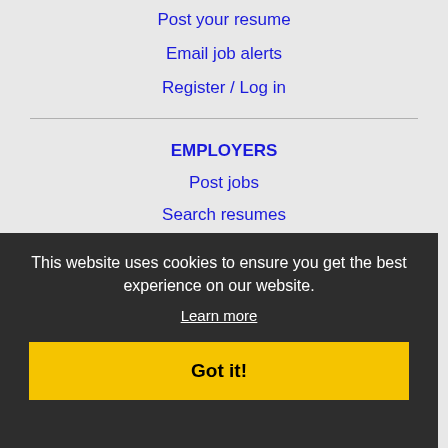Post your resume
Email job alerts
Register / Log in
EMPLOYERS
Post jobs
Search resumes
Email resume alerts
Advertise
IMMIGRATION SPECIALISTS
Post jobs
Immigration FAQs
Learn more
This website uses cookies to ensure you get the best experience on our website.
Learn more
Got it!